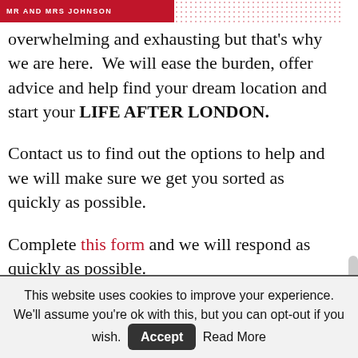[Figure (other): Red banner with text 'MR AND MRS JOHNSON' and decorative red dot pattern to the right]
overwhelming and exhausting but that's why we are here.  We will ease the burden, offer advice and help find your dream location and start your LIFE AFTER LONDON.
Contact us to find out the options to help and we will make sure we get you sorted as quickly as possible.
Complete this form and we will respond as quickly as possible.
This website uses cookies to improve your experience. We'll assume you're ok with this, but you can opt-out if you wish. Accept Read More